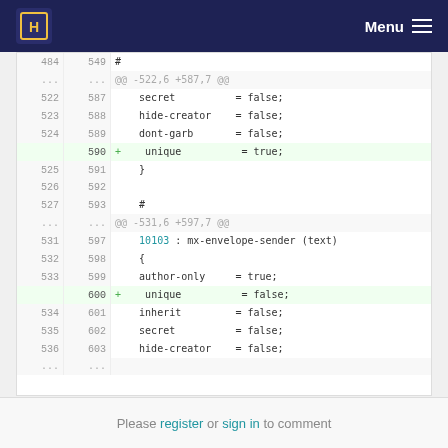Menu
| old | new | code |
| --- | --- | --- |
| 484 | 549 | # |
| ... | ... | @@ -522,6 +587,7 @@ |
| 522 | 587 |     secret          = false; |
| 523 | 588 |     hide-creator    = false; |
| 524 | 589 |     dont-garb       = false; |
|  | 590 | +   unique           = true; |
| 525 | 591 |     } |
| 526 | 592 |  |
| 527 | 593 |     # |
| ... | ... | @@ -531,6 +597,7 @@ |
| 531 | 597 |     10103 : mx-envelope-sender (text) |
| 532 | 598 |     { |
| 533 | 599 |     author-only      = true; |
|  | 600 | +   unique           = false; |
| 534 | 601 |     inherit         = false; |
| 535 | 602 |     secret          = false; |
| 536 | 603 |     hide-creator    = false; |
| ... | ... |  |
Please register or sign in to comment